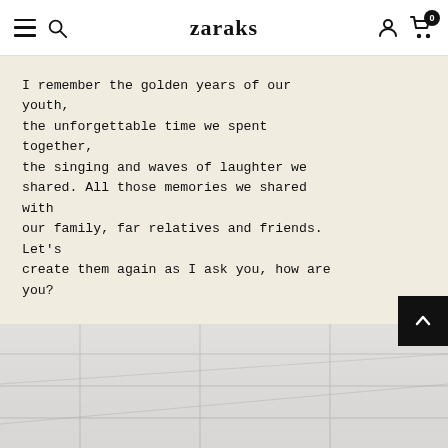zaraks
I remember the golden years of our youth, the unforgettable time we spent together, the singing and waves of laughter we shared. All those memories we shared with our family, far relatives and friends. Let's create them again as I ask you, how are you?
SHOP COLLECTION
[Figure (photo): Photo of a white drop ceiling with square tiles, viewed from below at an angle, partially cut off at the bottom of the page.]